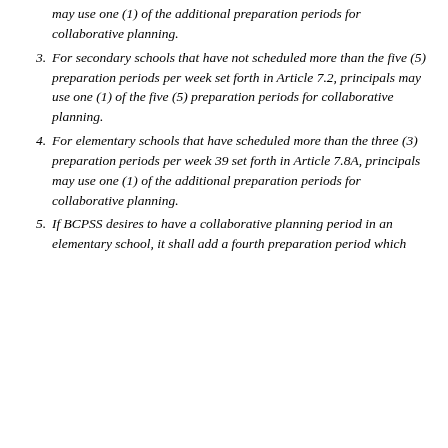may use one (1) of the additional preparation periods for collaborative planning.
3. For secondary schools that have not scheduled more than the five (5) preparation periods per week set forth in Article 7.2, principals may use one (1) of the five (5) preparation periods for collaborative planning.
4. For elementary schools that have scheduled more than the three (3) preparation periods per week 39 set forth in Article 7.8A, principals may use one (1) of the additional preparation periods for collaborative planning.
5. If BCPSS desires to have a collaborative planning period in an elementary school, it shall add a fourth preparation period which